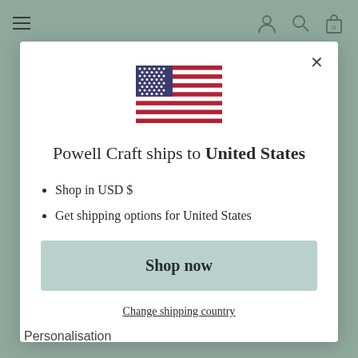Powell Craft website header with hamburger menu and icons
[Figure (illustration): US flag SVG icon centered in modal]
Powell Craft ships to United States
Shop in USD $
Get shipping options for United States
Shop now
Change shipping country
Personalisation